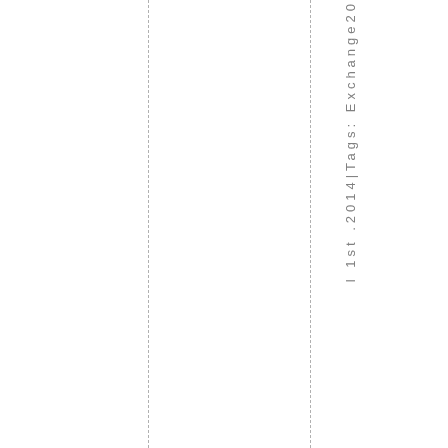l 1 s t . 2 0 1 4 | T a g s : E x c h a n g e 2 0